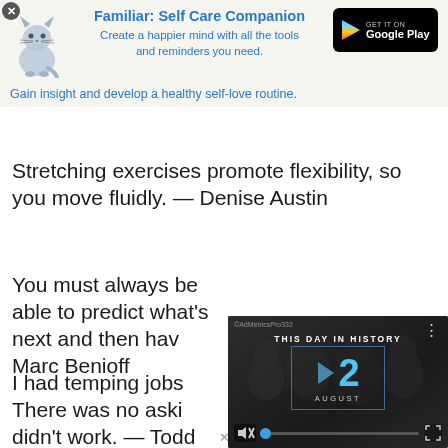[Figure (screenshot): App advertisement banner for 'Familiar: Self Care Companion' with cat icon and Google Play button]
Stretching exercises promote flexibility, so you move fluidly. — Denise Austin
You must always be able to predict what's next and then have the courage to act on that prediction. — Marc Benioff
I had temping jobs. There was no asking why. — Todd Barry
[Figure (screenshot): Video overlay showing 'THIS DAY IN HISTORY' with date 12 AUGUST, play button, mute button and progress bar]